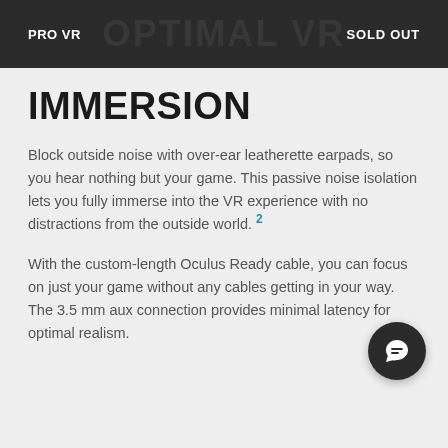PRO VR   OPTIMAL VR   SOLD OUT
IMMERSION
Block outside noise with over-ear leatherette earpads, so you hear nothing but your game. This passive noise isolation lets you fully immerse into the VR experience with no distractions from the outside world. 2
With the custom-length Oculus Ready cable, you can focus on just your game without any cables getting in your way. The 3.5 mm aux connection provides minimal latency for optimal realism.
[Figure (illustration): Dark circular chat/support button icon in bottom-right area]